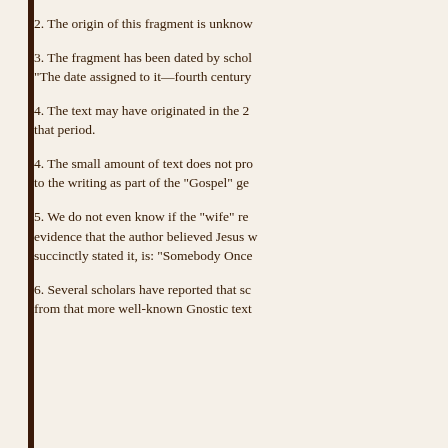2. The origin of this fragment is unknow
3. The fragment has been dated by schol
"The date assigned to it—fourth century
4. The text may have originated in the 2 that period.
4. The small amount of text does not pro to the writing as part of the "Gospel" ge
5. We do not even know if the "wife" re evidence that the author believed Jesus w succinctly stated it, is: "Somebody Once
6. Several scholars have reported that sc from that more well-known Gnostic text